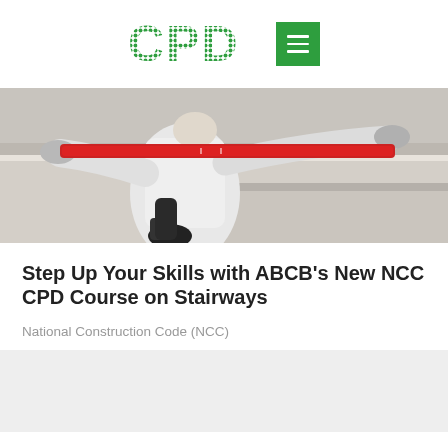[Figure (logo): CPD for Built Environment logo with green dotted/checkered CPD letters and tagline FOR BUILT ENVIRONMENT, alongside a green menu hamburger button]
[Figure (photo): A person in white protective coveralls and gloves measuring or checking a concrete stairway surface with a red spirit level tool]
Step Up Your Skills with ABCB's New NCC CPD Course on Stairways
National Construction Code (NCC)